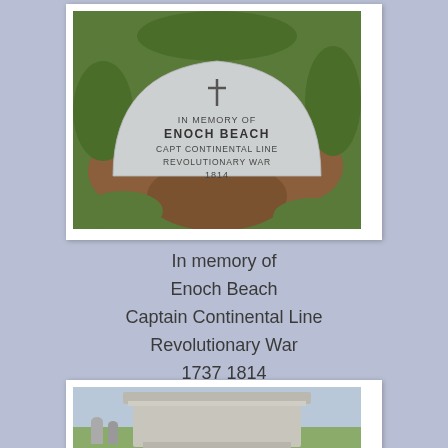[Figure (photo): Photograph of a flat memorial grave marker in grass. The marker reads: IN MEMORY OF ENOCH BEACH CAPT CONTINENTAL LINE REVOLUTIONARY WAR 1814. A cross symbol is at the top.]
In memory of
Enoch Beach
Captain Continental Line
Revolutionary War
1737 1814
[Figure (photo): Photograph of a large stone grave monument, partially visible, with the word SACRED carved at the bottom. Other gravestones visible in the background.]